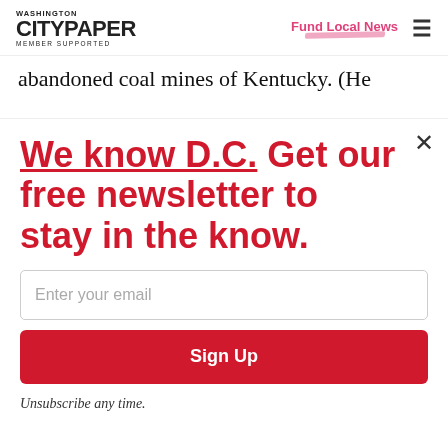Washington City Paper — Member Supported | Fund Local News
abandoned coal mines of Kentucky. (He
We know D.C. Get our free newsletter to stay in the know.
Enter your email
Sign Up
Unsubscribe any time.